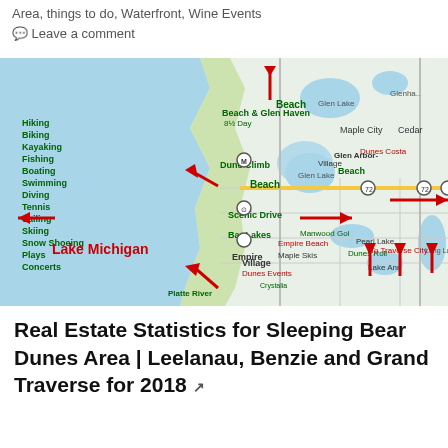Area, things to do, Waterfront, Wine Events
💬 Leave a comment
[Figure (map): Map of Sleeping Bear Dunes area along Lake Michigan shoreline in Leelanau County Michigan, showing Glen Arbor, Empire, Maple City, Cedar and surrounding areas with red arrows pointing to points of interest. Green labels list activities: Hiking, Biking, Kayaking, Fishing, Boating, Swimming, Diving, Tennis, Sailing, Skiing, Snow Shoeing, Plays, Concerts. Labeled features include Beach & Glen Haven, Dune Climb, Scenic Drive, Empire, Leelanau Beach, Lake Michigan.]
Real Estate Statistics for Sleeping Bear Dunes Area | Leelanau, Benzie and Grand Traverse for 2018 ↗